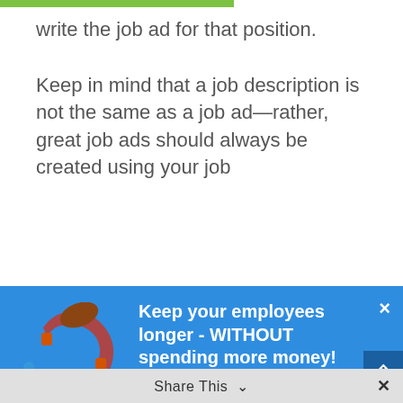write the job ad for that position.
Keep in mind that a job description is not the same as a job ad—rather, great job ads should always be created using your job
[Figure (illustration): Blue modal popup with illustration of magnet attracting people figures, headline 'Keep your employees longer - WITHOUT spending more money!', body text about employee engagement and retention, close button (×), scroll-up button (^), and share bar at bottom.]
Keep your employees longer - WITHOUT spending more money!
When your employees feel connected to your business and its mission, they'll be more engaged in their work and take better accountability for their role in your business' success.
We break down the secret to increasing employee engagement and retention in a way that supports your business in this free guide!
Share This ∨  ×